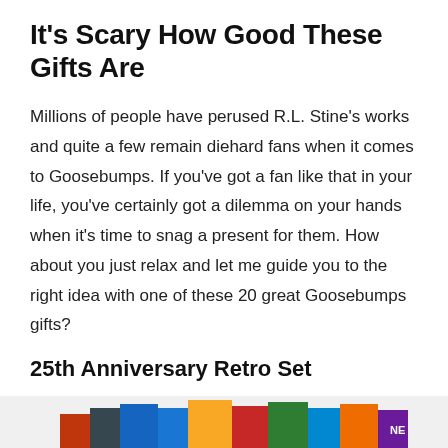It’s Scary How Good These Gifts Are
Millions of people have perused R.L. Stine’s works and quite a few remain diehard fans when it comes to Goosebumps. If you’ve got a fan like that in your life, you’ve certainly got a dilemma on your hands when it’s time to snag a present for them. How about you just relax and let me guide you to the right idea with one of these 20 great Goosebumps gifts?
25th Anniversary Retro Set
[Figure (photo): Partial view of colorful Goosebumps book set at the bottom of the page]